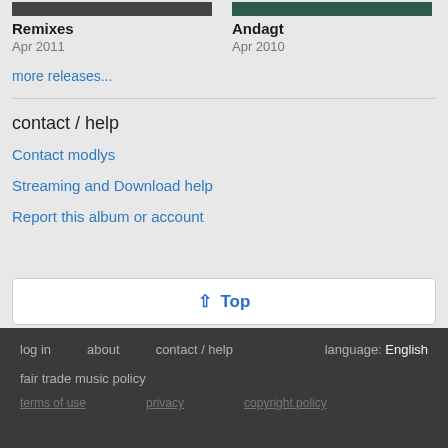[Figure (screenshot): Album artwork thumbnail strip top of Remixes]
Remixes
Apr 2011
[Figure (screenshot): Album artwork thumbnail strip top of Andagt]
Andagt
Apr 2010
more releases...
contact / help
Contact modlys
Streaming and Download help
Report this album or account
↑ Top
log in   about   contact / help   language: English
fair trade music policy
terms of use   privacy   copyright policy